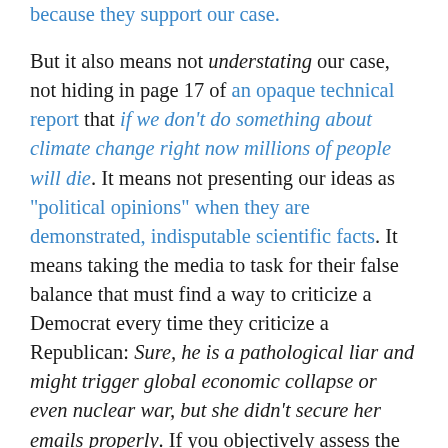because they support our case. But it also means not understating our case, not hiding in page 17 of an opaque technical report that if we don't do something about climate change right now millions of people will die. It means not presenting our ideas as "political opinions" when they are demonstrated, indisputable scientific facts. It means taking the media to task for their false balance that must find a way to criticize a Democrat every time they criticize a Republican: Sure, he is a pathological liar and might trigger global economic collapse or even nuclear war, but she didn't secure her emails properly. If you objectively assess the facts and find that Republicans lie three times as often as Democrats, maybe that's something you should